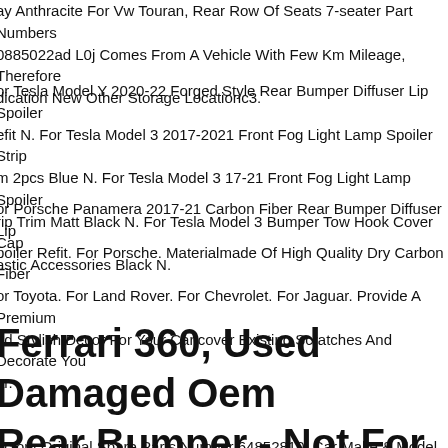ay Anthracite For Vw Touran, Rear Row Of Seats 7-seater Part Numbers 0885022ad L0j Comes From A Vehicle With Few Km Mileage, Therefore dication New Other Storage Locationc3.
or Tesla Model Y 2020-22 Forged Style Rear Bumper Diffuser Lip Spoiler efit N. For Tesla Model 3 2017-2021 Front Fog Light Lamp Spoiler Strip m 2pcs Blue N. For Tesla Model 3 17-21 Front Fog Light Lamp Spoiler rip Trim Matt Black N. For Tesla Model 3 Bumper Tow Hook Cover Cap astic Accessories Black N.
or Porsche Panamera 2017-21 Carbon Fiber Rear Bumper Diffuser Lip poiler Refit. For Porsche. Materialmade Of High Quality Dry Carbon Fiber or Toyota. For Land Rover. For Chevrolet. For Jaguar. Provide A Premium nd Stylish Decor For Your Car,cover Existing Scratches And Decorate You ar.
Ferrari 360, Used Damaged Oem Rear Bumper - Not For Usa And Cdn, 64852810
actory Original Spare Parts Number 64852810. Car Make & Model Ferarr